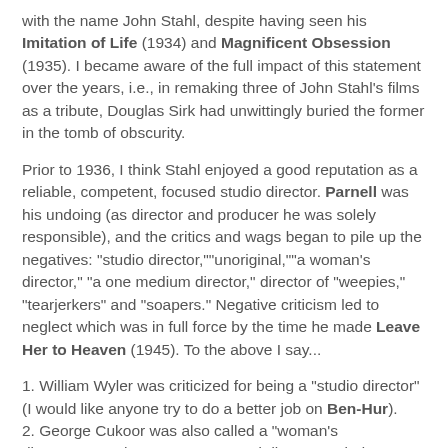with the name John Stahl, despite having seen his Imitation of Life (1934) and Magnificent Obsession (1935). I became aware of the full impact of this statement over the years, i.e., in remaking three of John Stahl's films as a tribute, Douglas Sirk had unwittingly buried the former in the tomb of obscurity.
Prior to 1936, I think Stahl enjoyed a good reputation as a reliable, competent, focused studio director. Parnell was his undoing (as director and producer he was solely responsible), and the critics and wags began to pile up the negatives: "studio director,""unoriginal,""a woman's director," "a one medium director," director of "weepies," "tearjerkers" and "soapers." Negative criticism led to neglect which was in full force by the time he made Leave Her to Heaven (1945). To the above I say...
1. William Wyler was criticized for being a "studio director" (I would like anyone try to do a better job on Ben-Hur).
2. George Cukoor was also called a "woman's director"...so what? He was a good director period...
3. John Ford directed mostly westerns.